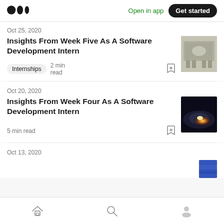Medium logo | Open in app | Get started
Oct 25, 2020
Insights From Week Five As A Software Development Intern
Internships  2 min read
[Figure (photo): Thumbnail image for Week Five article – appears to show a conference room or event space]
Oct 20, 2020
Insights From Week Four As A Software Development Intern
5 min read
[Figure (photo): Thumbnail image for Week Four article – dark image with glowing light, possibly a galaxy or light phenomenon]
Oct 13, 2020
Home | Search | Profile